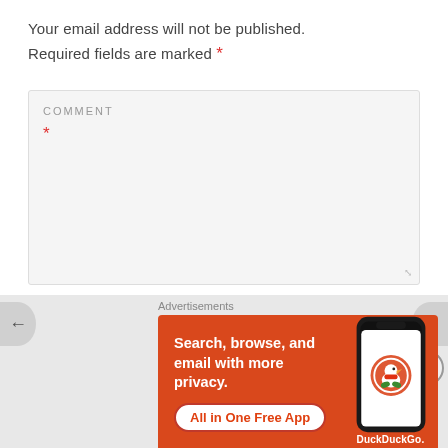Your email address will not be published. Required fields are marked *
COMMENT *
[Figure (screenshot): Comment form textarea with label COMMENT and a red asterisk, showing a large empty input area with resize handle]
[Figure (infographic): DuckDuckGo advertisement banner with orange background. Text: Search, browse, and email with more privacy. All in One Free App. Shows a phone with DuckDuckGo app.]